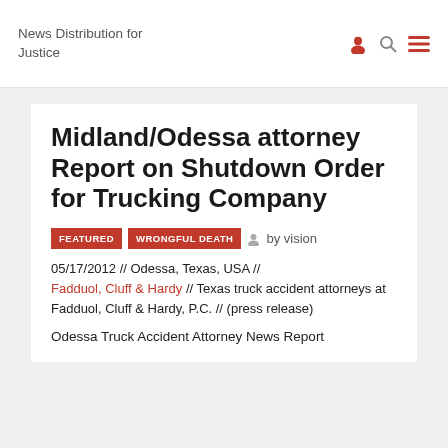News Distribution for Justice
Midland/Odessa attorney Report on Shutdown Order for Trucking Company
FEATURED   WRONGFUL DEATH   by vision
05/17/2012 // Odessa, Texas, USA // Fadduol, Cluff & Hardy // Texas truck accident attorneys at Fadduol, Cluff & Hardy, P.C. // (press release)
Odessa Truck Accident Attorney News Report